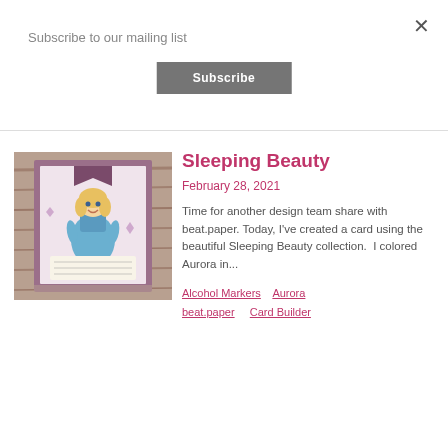Subscribe to our mailing list
×
Subscribe
[Figure (photo): A handmade card featuring a cartoon Sleeping Beauty (Aurora) character in a blue dress on a purple/mauve background, displayed on a wooden surface.]
Sleeping Beauty
February 28, 2021
Time for another design team share with beat.paper. Today, I've created a card using the beautiful Sleeping Beauty collection.  I colored Aurora in...
Alcohol Markers  Aurora  beat.paper  Card Builder